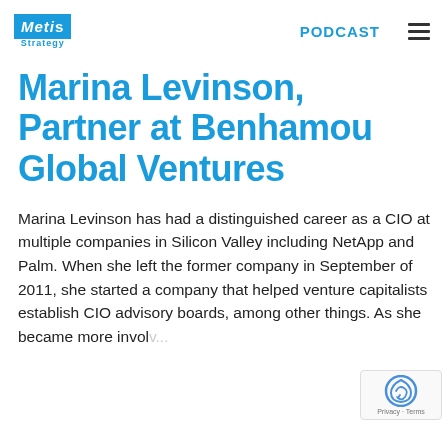Metis Strategy | PODCAST
Marina Levinson, Partner at Benhamou Global Ventures
Marina Levinson has had a distinguished career as a CIO at multiple companies in Silicon Valley including NetApp and Palm. When she left the former company in September of 2011, she started a company that helped venture capitalists establish CIO advisory boards, among other things. As she became more involved...